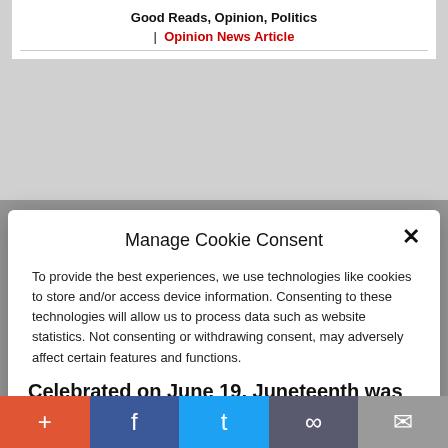Good Reads, Opinion, Politics
| Opinion News Article
Manage Cookie Consent
To provide the best experiences, we use technologies like cookies to store and/or access device information. Consenting to these technologies will allow us to process data such as website statistics. Not consenting or withdrawing consent, may adversely affect certain features and functions.
Accept
Cookie Policy  Privacy Policy
Celebrated on June 19, Juneteenth was
largely unknown until about two years